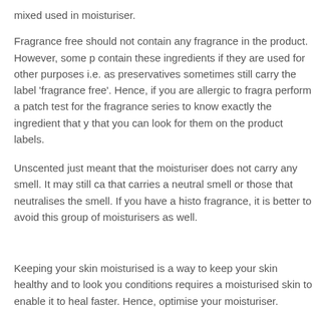mixed used in moisturiser.
Fragrance free should not contain any fragrance in the product. However, some products may contain these ingredients if they are used for other purposes i.e. as preservatives and can sometimes still carry the label 'fragrance free'. Hence, if you are allergic to fragrance, perform a patch test for the fragrance series to know exactly the ingredient that you react to that you can look for them on the product labels.
Unscented just meant that the moisturiser does not carry any smell. It may still contain ingredients that carries a neutral smell or those that neutralises the smell. If you have a history of reacting to fragrance, it is better to avoid this group of moisturisers as well.
Keeping your skin moisturised is a way to keep your skin healthy and to look your best. Some skin conditions requires a moisturised skin to enable it to heal faster. Hence, optimised the use of your moisturiser.
Selamat Hari Raya!